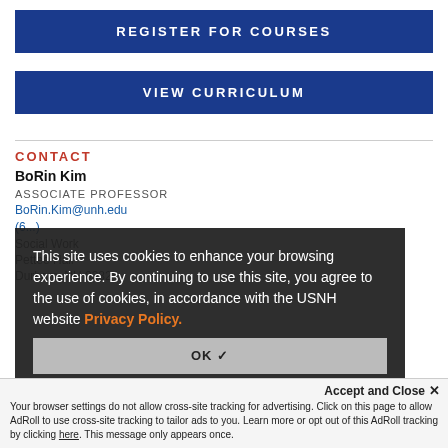REGISTER FOR COURSES
VIEW CURRICULUM
CONTACT
BoRin Kim
ASSOCIATE PROFESSOR
BoRin.Kim@unh.edu
(6...)
Social Work
Pettee Hall
Durham, NH 03824
This site uses cookies to enhance your browsing experience. By continuing to use this site, you agree to the use of cookies, in accordance with the USNH website Privacy Policy.
OK ✓
Accept and Close ✕
Your browser settings do not allow cross-site tracking for advertising. Click on this page to allow AdRoll to use cross-site tracking to tailor ads to you. Learn more or opt out of this AdRoll tracking by clicking here. This message only appears once.